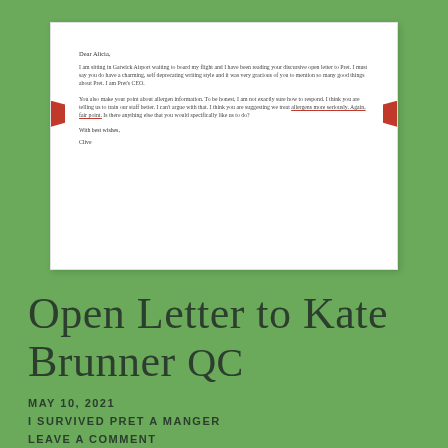[Figure (screenshot): A screenshot of a letter. Salutation: 'Dear Alicia,' followed by two paragraphs. First paragraph: 'I am sitting in Gatwick Airport waiting to board my flight and I have been reading your discursive open letter to Pret. I must say you do have a charming, self deprecating writing style and it was very gracious of you to mention so many good things about Pret. I am Pret's CEO.' Second paragraph (highlighted with red bookmark tabs on sides): 'You also make your point about allergen information. To be honest, I am not exactly sure how to respond. I think you are telling us to train our staff better. I can't argue with that. I think you are suggesting we treat allergens more seriously. Again, fair point. Is there anything else that you would specifically like us to do?' Closing: 'With best wishes,' and 'Clive']
Open Letter to Kate Brunner QC
MAY 10, 2021
I SURVIVED PRET A MANGER
LEAVE A COMMENT